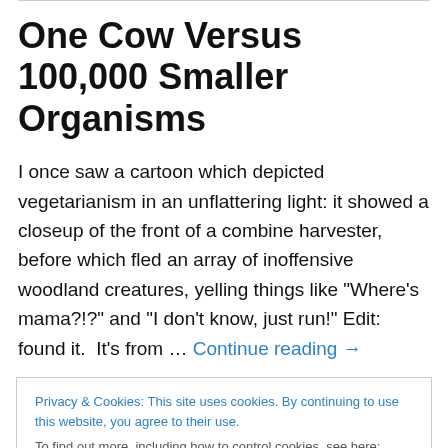One Cow Versus 100,000 Smaller Organisms
I once saw a cartoon which depicted vegetarianism in an unflattering light: it showed a closeup of the front of a combine harvester, before which fled an array of inoffensive woodland creatures, yelling things like "Where's mama?!?" and "I don't know, just run!" Edit: found it.  It's from … Continue reading →
Privacy & Cookies: This site uses cookies. By continuing to use this website, you agree to their use.
To find out more, including how to control cookies, see here: Cookie Policy
Today I was looking at a web site which sold leather belts -